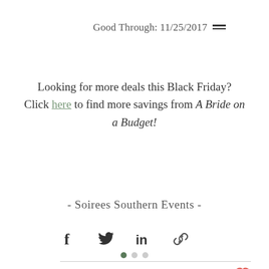Good Through: 11/25/2017
Looking for more deals this Black Friday? Click here to find more savings from A Bride on a Budget!
- Soirees Southern Events -
[Figure (infographic): Social share buttons: Facebook, Twitter, LinkedIn, Link]
[Figure (infographic): Views icon with count 6, comment icon, heart/like button]
[Figure (infographic): Pagination dots: 3 dots, first active (dark), two inactive (gray)]